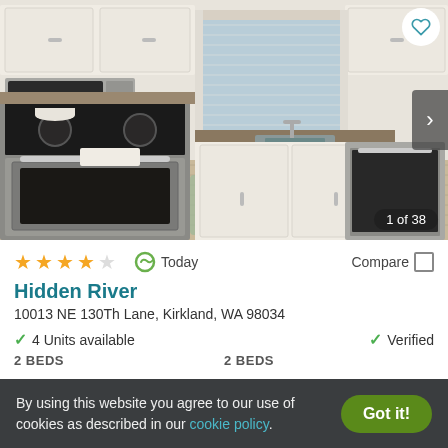[Figure (photo): Interior photo of a modern apartment kitchen with stainless steel appliances including range, microwave, and dishwasher, white cabinets, dark countertops, wood-look flooring, and a striped area rug near a corner sink with window.]
1 of 38
★★★★☆  Today  Compare
Hidden River
10013 NE 130Th Lane, Kirkland, WA 98034
✓ 4 Units available    ✓ Verified
2 BEDS   2 BEDS
By using this website you agree to our use of cookies as described in our cookie policy.